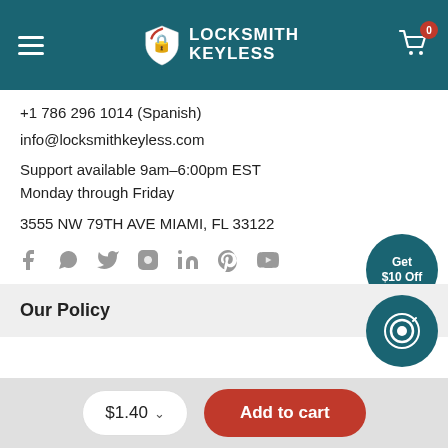Locksmith Keyless - Navigation Header with logo and cart
+1 786 296 1014 (Spanish)
info@locksmithkeyless.com
Support available 9am–6:00pm EST
Monday through Friday
3555 NW 79TH AVE MIAMI, FL 33122
[Figure (illustration): Row of social media icons: Facebook, WhatsApp, Twitter, Instagram, LinkedIn, Pinterest, YouTube]
Our Policy
$1.40  Add to cart